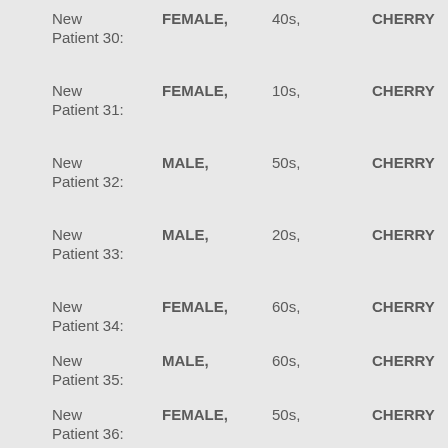New Patient 30: FEMALE, 40s, CHERRY
New Patient 31: FEMALE, 10s, CHERRY
New Patient 32: MALE, 50s, CHERRY
New Patient 33: MALE, 20s, CHERRY
New Patient 34: FEMALE, 60s, CHERRY
New Patient 35: MALE, 60s, CHERRY
New Patient 36: FEMALE, 50s, CHERRY